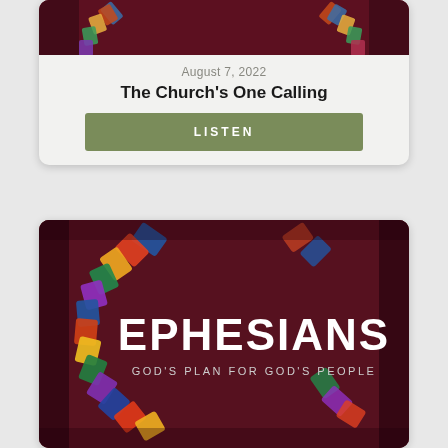[Figure (photo): Top portion of a sermon card showing stained glass windows arranged in an arc pattern on a dark maroon background]
August 7, 2022
The Church's One Calling
LISTEN
[Figure (photo): Sermon series cover image showing stained glass windows in an arc on a dark maroon/burgundy background with text EPHESIANS GOD'S PLAN FOR GOD'S PEOPLE]